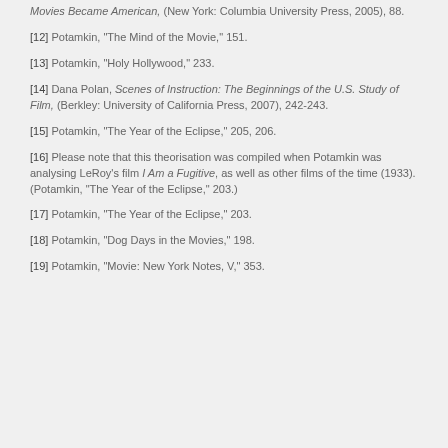Movies Became American, (New York: Columbia University Press, 2005), 88.
[12] Potamkin, "The Mind of the Movie," 151.
[13] Potamkin, "Holy Hollywood," 233.
[14] Dana Polan, Scenes of Instruction: The Beginnings of the U.S. Study of Film, (Berkley: University of California Press, 2007), 242-243.
[15] Potamkin, "The Year of the Eclipse," 205, 206.
[16] Please note that this theorisation was compiled when Potamkin was analysing LeRoy's film I Am a Fugitive, as well as other films of the time (1933). (Potamkin, "The Year of the Eclipse," 203.)
[17] Potamkin, "The Year of the Eclipse," 203.
[18] Potamkin, "Dog Days in the Movies," 198.
[19] Potamkin, "Movie: New York Notes, V," 353.